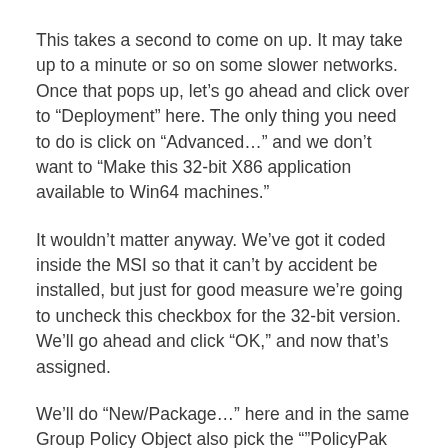This takes a second to come on up. It may take up to a minute or so on some slower networks. Once that pops up, let’s go ahead and click over to “Deployment” here. The only thing you need to do is click on “Advanced…” and we don’t want to “Make this 32-bit X86 application available to Win64 machines.”
It wouldn’t matter anyway. We’ve got it coded inside the MSI so that it can’t by accident be installed, but just for good measure we’re going to uncheck this checkbox for the 32-bit version. We’ll go ahead and click “OK,” and now that’s assigned.
We’ll do “New/Package…” here and in the same Group Policy Object also pick the “”PolicyPak CSE Setup x64” one. We’ll go ahead and click “Advanced” again, and again this takes a minute or